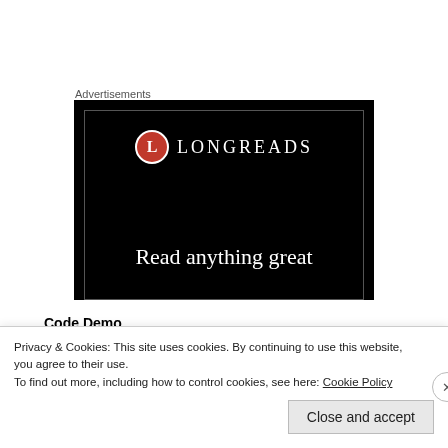Advertisements
[Figure (illustration): Longreads advertisement banner with black background, red circular L logo, brand name LONGREADS, and tagline 'Read anything great']
Code Demo
Solution architecture for simple web site
Privacy & Cookies: This site uses cookies. By continuing to use this website, you agree to their use.
To find out more, including how to control cookies, see here: Cookie Policy
Close and accept